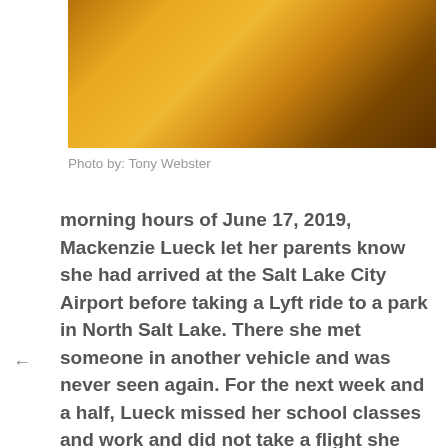[Figure (photo): Blurred amber/orange photograph, partially cropped at top of page]
Photo by: Tony Webster
morning hours of June 17, 2019, Mackenzie Lueck let her parents know she had arrived at the Salt Lake City Airport before taking a Lyft ride to a park in North Salt Lake. There she met someone in another vehicle and was never seen again. For the next week and a half, Lueck missed her school classes and work and did not take a flight she had scheduled back to California to see her family. Investigators worked tirelessly around the clock, eventually questioning a man that had engaged in electronic communications with Lueck prior to her disappearance.